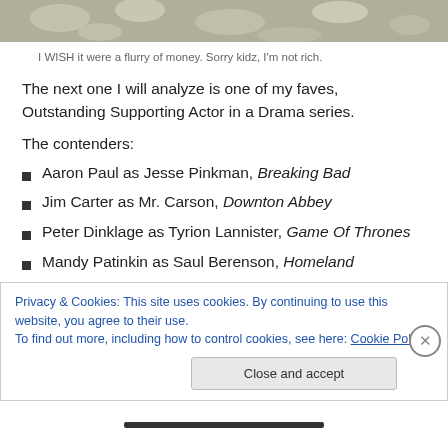[Figure (photo): A decorative photo at the top of the page showing a flurry or pattern, likely money or paper-like texture in greens and grays.]
I WISH it were a flurry of money. Sorry kidz, I'm not rich.
The next one I will analyze is one of my faves, Outstanding Supporting Actor in a Drama series.
The contenders:
Aaron Paul as Jesse Pinkman, Breaking Bad
Jim Carter as Mr. Carson, Downton Abbey
Peter Dinklage as Tyrion Lannister, Game Of Thrones
Mandy Patinkin as Saul Berenson, Homeland
Privacy & Cookies: This site uses cookies. By continuing to use this website, you agree to their use.
To find out more, including how to control cookies, see here: Cookie Policy